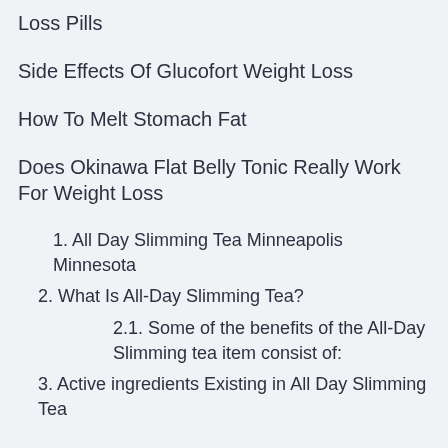Loss Pills
Side Effects Of Glucofort Weight Loss
How To Melt Stomach Fat
Does Okinawa Flat Belly Tonic Really Work For Weight Loss
1. All Day Slimming Tea Minneapolis Minnesota
2. What Is All-Day Slimming Tea?
2.1. Some of the benefits of the All-Day Slimming tea item consist of:
3. Active ingredients Existing in All Day Slimming Tea